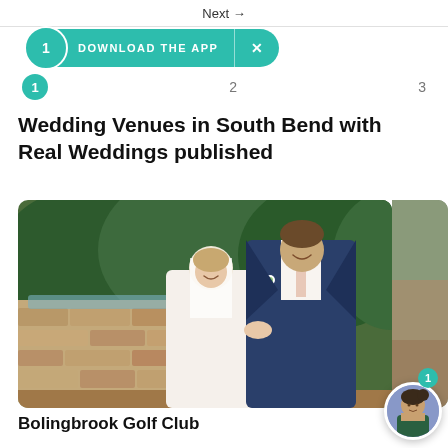Next →
DOWNLOAD THE APP   ×
1   2   3
Wedding Venues in South Bend with Real Weddings published
[Figure (photo): Wedding couple photo — bride in white dress and groom in navy blue suit smiling in front of stone wall and greenery]
Bolingbrook Golf Club